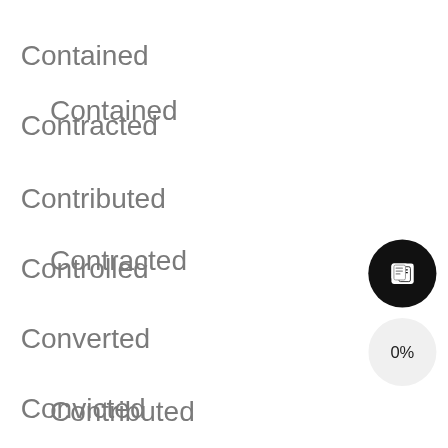Contained
Contracted
Contributed
Controlled
Converted
Convicted
Coordinated